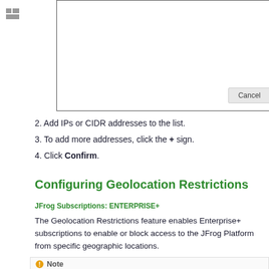[Figure (screenshot): Dialog box with a Cancel button at the bottom right]
2. Add IPs or CIDR addresses to the list.
3. To add more addresses, click the + sign.
4. Click Confirm.
Configuring Geolocation Restrictions
JFrog Subscriptions: ENTERPRISE+
The Geolocation Restrictions feature enables Enterprise+ subscriptions to enable or block access to the JFrog Platform from specific geographic locations.
Note